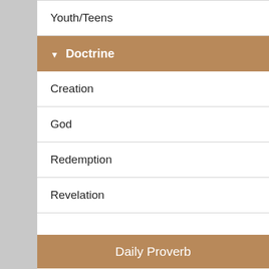Youth/Teens
▼ Doctrine
Creation
God
Redemption
Revelation
Daily Proverb
Proverbs 1:10
My son, if sinners entice thee, consent thou not.